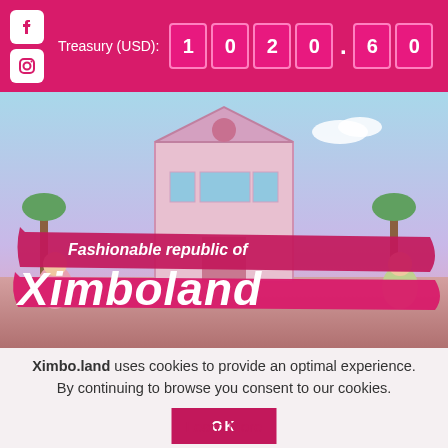Treasury (USD): 1020.60
[Figure (illustration): Fashionable Republic of Ximboland game banner with cartoon characters in a pink shopping mall setting, large stylized text logo]
Ximbo.land uses cookies to provide an optimal experience. By continuing to browse you consent to our cookies.
OK
Learn More